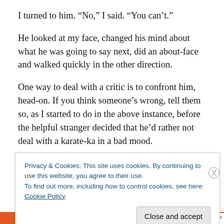I turned to him. “No,” I said. “You can’t.”
He looked at my face, changed his mind about what he was going to say next, did an about-face and walked quickly in the other direction.
One way to deal with a critic is to confront him, head-on. If you think someone’s wrong, tell them so, as I started to do in the above instance, before the helpful stranger decided that he’d rather not deal with a karate-ka in a bad mood.
As for criticism in the dojo, if you disagree with someone
Privacy & Cookies: This site uses cookies. By continuing to use this website, you agree to their use.
To find out more, including how to control cookies, see here: Cookie Policy
Close and accept